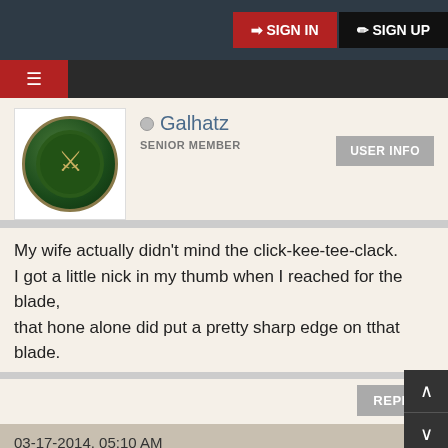SIGN IN | SIGN UP
Galhatz
SENIOR MEMBER
My wife actually didn't mind the click-kee-tee-clack.
I got a little nick in my thumb when I reached for the blade,
that hone alone did put a pretty sharp edge on tthat blade.
03-17-2014, 05:10 AM  #8
jungleisneutral
MEMBER
Australia